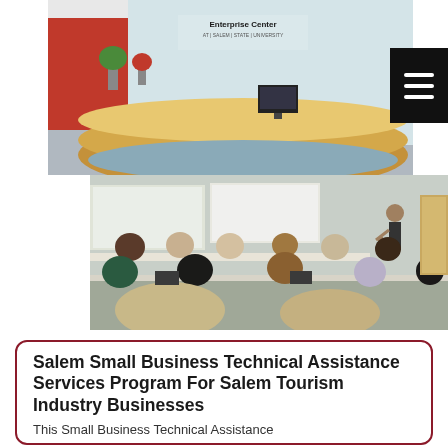[Figure (photo): Reception desk at an Enterprise Center at Salem State University, with curved wooden desk, plants, and signage on the wall. A black hamburger menu button overlay is visible top right.]
[Figure (photo): Classroom scene with attendees seated at tables with laptops, facing a presenter standing at the front near a projector screen.]
Salem Small Business Technical Assistance Services Program For Salem Tourism Industry Businesses
This Small Business Technical Assistance